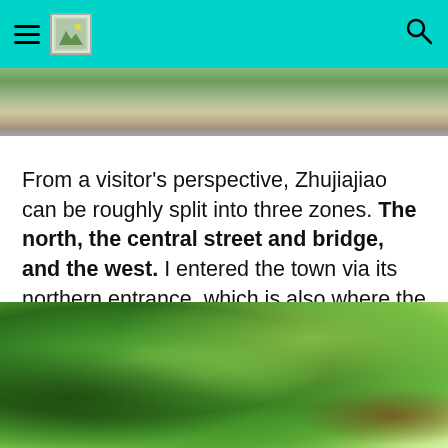[hamburger menu] [logo] [search icon]
[Figure (photo): Partial view of a scenic outdoor scene, cropped at top of page]
From a visitor's perspective, Zhujiajiao can be roughly split into three zones. The north, the central street and bridge, and the west. I entered the town via its northern entrance, which is also where the car park is. It's relatively quiet with a narrower canal and many small eateries and shops.
[Figure (photo): Lush green trees and foliage in Zhujiajiao, with glimpses of traditional architecture and red lanterns visible through the greenery]